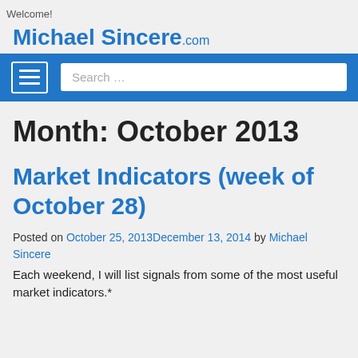Welcome!
Michael Sincere.com
Month: October 2013
Market Indicators (week of October 28)
Posted on October 25, 2013December 13, 2014 by Michael Sincere
Each weekend, I will list signals from some of the most useful market indicators.*